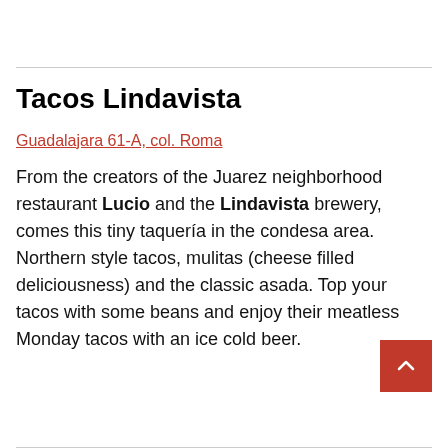Tacos Lindavista
Guadalajara 61-A, col. Roma
From the creators of the Juarez neighborhood restaurant Lucio and the Lindavista brewery, comes this tiny taquería in the condesa area. Northern style tacos, mulitas (cheese filled deliciousness) and the classic asada. Top your tacos with some beans and enjoy their meatless Monday tacos with an ice cold beer.